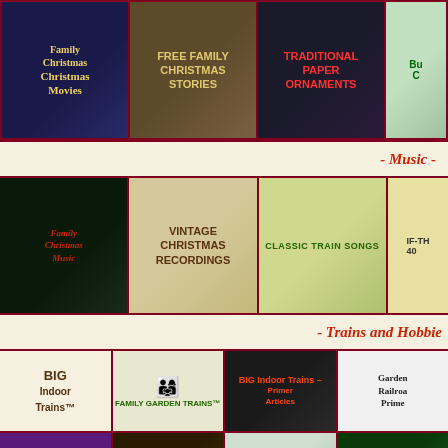[Figure (screenshot): Top banner row with 4 banner images: Family Christmas Movies, Free Family Christmas Stories, Traditional Paper Ornaments, partial fourth banner]
- Music -
[Figure (screenshot): Music section row with 4 banner images: Family Christmas Music, Vintage Christmas Recordings, Classic Train Songs, partial fourth]
- Trains and Hobbies -
[Figure (screenshot): Trains grid: BIG Indoor Trains, Family Garden Trains, BIG Indoor Trains Primer Articles, Garden Railroad Primer, Lionel Train Sets, Tribute to Tinplate, Thomas Kinkade Train and Villages, Christmas]
[Figure (screenshot): NFL ad banner: Exclusive NFL Train Collections! click here now!]